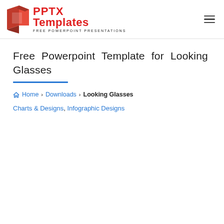PPTX Templates — FREE POWERPOINT PRESENTATIONS
Free Powerpoint Template for Looking Glasses
Home › Downloads › Looking Glasses
Charts & Designs, Infographic Designs